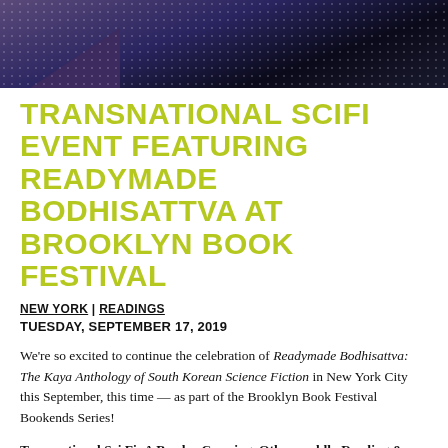[Figure (photo): Dark purple and navy background image with star-like speckles and a triangular dark shape, used as decorative header image]
TRANSNATIONAL SCIFI EVENT FEATURING READYMADE BODHISATTVA AT BROOKLYN BOOK FESTIVAL
NEW YORK | READINGS
TUESDAY, SEPTEMBER 17, 2019
We're so excited to continue the celebration of Readymade Bodhisattva: The Kaya Anthology of South Korean Science Fiction in New York City this September, this time — as part of the Brooklyn Book Festival Bookends Series!
Transnational Sci Fi: A Border-Crossing, Otherworldly Reading & Discussion: In 2019, two groundbreaking transnational Sci Fi anthologies were published, Readymade Bodhisattva: The Kaya Anthology of South Korean